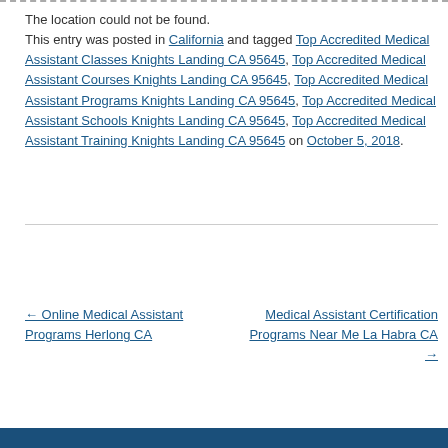The location could not be found. This entry was posted in California and tagged Top Accredited Medical Assistant Classes Knights Landing CA 95645, Top Accredited Medical Assistant Courses Knights Landing CA 95645, Top Accredited Medical Assistant Programs Knights Landing CA 95645, Top Accredited Medical Assistant Schools Knights Landing CA 95645, Top Accredited Medical Assistant Training Knights Landing CA 95645 on October 5, 2018.
← Online Medical Assistant Programs Herlong CA
Medical Assistant Certification Programs Near Me La Habra CA →